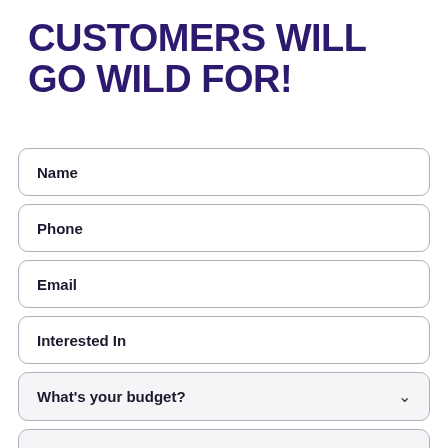CUSTOMERS WILL GO WILD FOR!
Name
Phone
Email
Interested In
What's your budget?